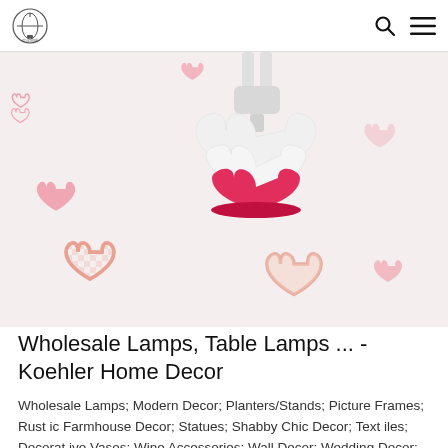Logo and navigation icons (search, menu)
[Figure (photo): A white heart-shaped table lamp with a pink/red base, photographed on a cream background with pink and peach heart patterns printed on it.]
Wholesale Lamps, Table Lamps ... - Koehler Home Decor
Wholesale Lamps; Modern Decor; Planters/Stands; Picture Frames; Rustic Farmhouse Decor; Statues; Shabby Chic Decor; Textiles; Decorative Vases; Wine Accessories; Wall Decor; Wedding Decor; ... Mason Blue And White Table Lamp. MSRP: $149.99. Wholesale: $69.00 (You save: 54%) Dollop Black And